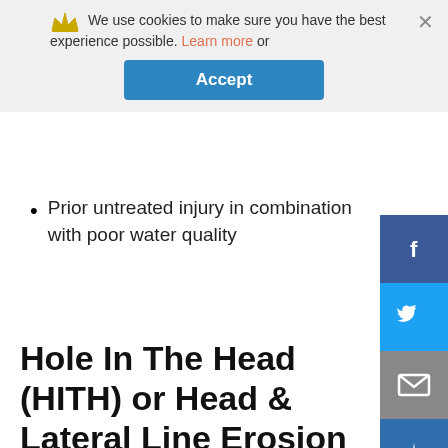[Figure (screenshot): Cookie consent banner with crown icon, 'We use cookies to make sure you have the best experience possible. Learn more or' text, Accept button, and close X button]
Prior untreated injury in combination with poor water quality
Hole In The Head (HITH) or Head & Lateral Line Erosion (HLLE)
[Figure (screenshot): Social media share buttons sidebar: Facebook (blue), Twitter (light blue), Email (grey), Crown/share (dark blue)]